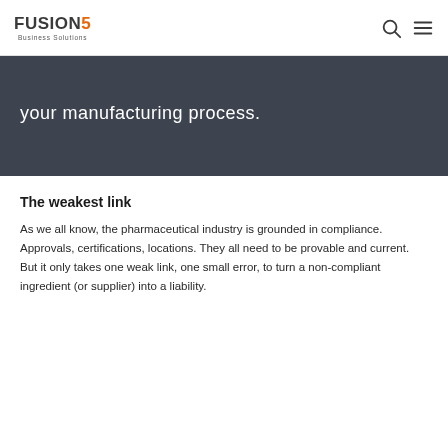FUSION5 Business Solutions
your manufacturing process.
The weakest link
As we all know, the pharmaceutical industry is grounded in compliance. Approvals, certifications, locations. They all need to be provable and current. But it only takes one weak link, one small error, to turn a non-compliant ingredient (or supplier) into a liability.